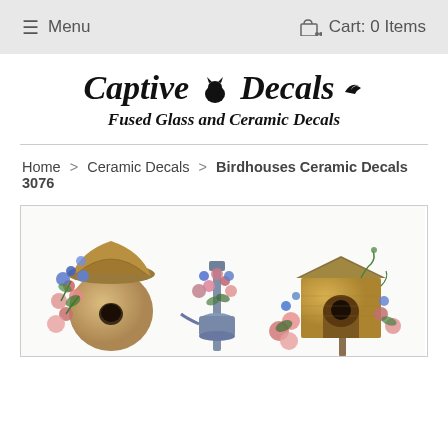≡ Menu   🛒 Cart: 0 Items
[Figure (logo): Captive Decals logo with cat and bird silhouette, italic serif text reading 'Captive Decals' and subtitle 'Fused Glass and Ceramic Decals']
Home > Ceramic Decals > Birdhouses Ceramic Decals 3076
[Figure (photo): Product image showing decorative birdhouse ceramic decals with floral arrangements, colorful pink and blue flowers around round and square birdhouses on white background]